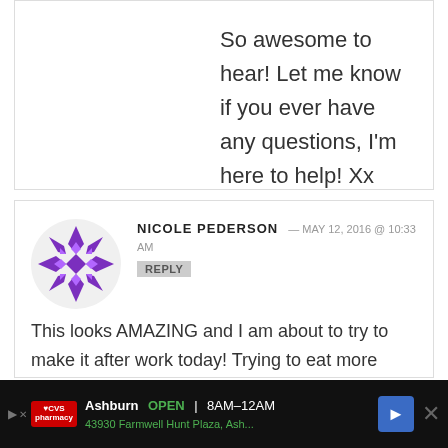So awesome to hear! Let me know if you ever have any questions, I'm here to help! Xx
NICOLE PEDERSON — MAY 12, 2016 @ 10:33 AM
This looks AMAZING and I am about to try to make it after work today! Trying to eat more healthier and I love beans and hummus! Thank you for sharing with us all about the healthy, yummy food you
Ashburn OPEN 8AM–12AM 43930 Farmwell Hunt Plaza, Ash...